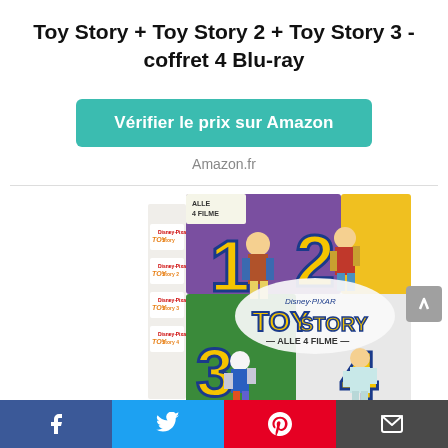Toy Story + Toy Story 2 + Toy Story 3 - coffret 4 Blu-ray
Vérifier le prix sur Amazon
Amazon.fr
[Figure (photo): Product photo of the Toy Story Alle 4 Filme (All 4 Films) Blu-ray box set with Disney·Pixar branding, showing the numbers 1, 2, 3, 4 with characters Woody, Jessie, Buzz Lightyear, and Bo Peep on the packaging.]
Facebook | Twitter | Pinterest | Email